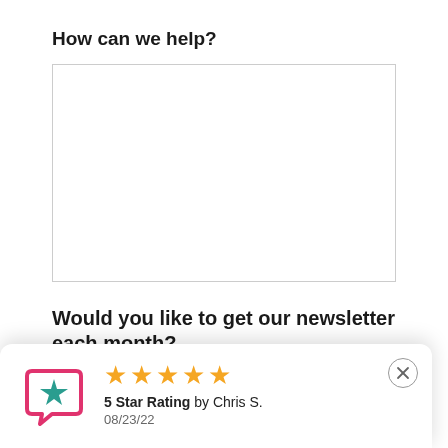How can we help?
[Figure (other): Empty text area input box]
Would you like to get our newsletter each month?
We share Tri-Cities news, real estate tips and local market
[Figure (other): Review card showing 5 star rating by Chris S. on 08/23/22 with a review icon logo and close button]
Heck yes!